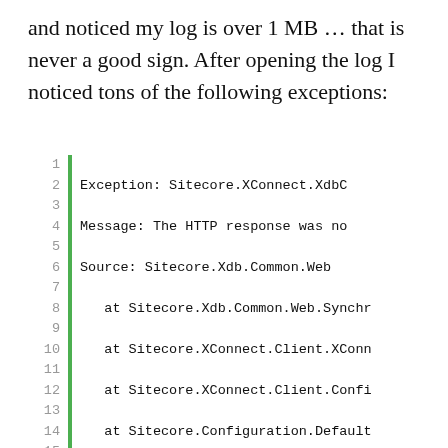and noticed my log is over 1 MB … that is never a good sign. After opening the log I noticed tons of the following exceptions:
[Figure (screenshot): Code block with green left border and line numbers 1-20 showing a stack trace exception from Sitecore.XConnect and related assemblies in monospace font.]